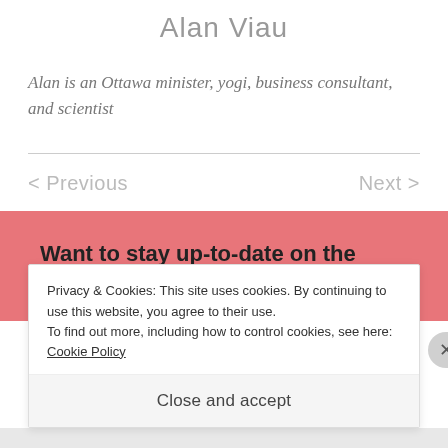Alan Viau
Alan is an Ottawa minister, yogi, business consultant, and scientist
< Previous   Next >
Want to stay up-to-date on the latest wedding news?
Privacy & Cookies: This site uses cookies. By continuing to use this website, you agree to their use.
To find out more, including how to control cookies, see here: Cookie Policy
Close and accept